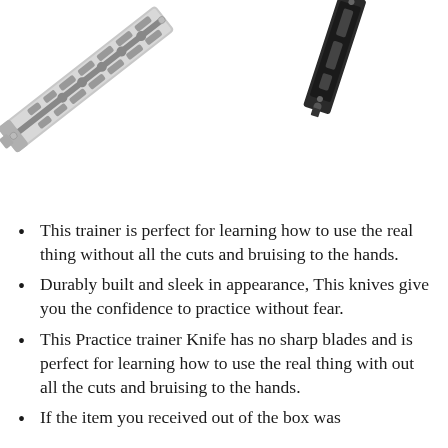[Figure (photo): Two butterfly trainer knives (balisong trainers) — one silver/chrome open showing handle with slots and holes, one black partially visible in upper right corner — on white background.]
This trainer is perfect for learning how to use the real thing without all the cuts and bruising to the hands.
Durably built and sleek in appearance, This knives give you the confidence to practice without fear.
This Practice trainer Knife has no sharp blades and is perfect for learning how to use the real thing with out all the cuts and bruising to the hands.
If the item you received out of the box was…